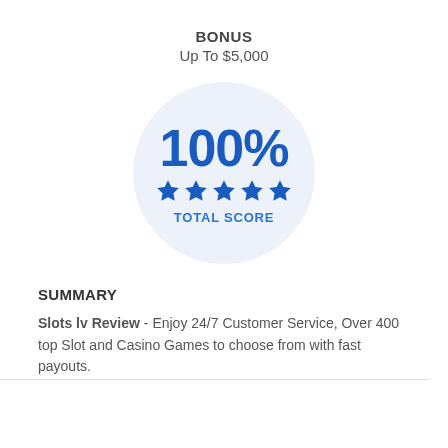BONUS
Up To $5,000
[Figure (infographic): A circular badge showing 100% score with five blue stars and the text TOTAL SCORE below the stars, on a light blue/grey circular background.]
SUMMARY
Slots lv Review - Enjoy 24/7 Customer Service, Over 400 top Slot and Casino Games to choose from with fast payouts.